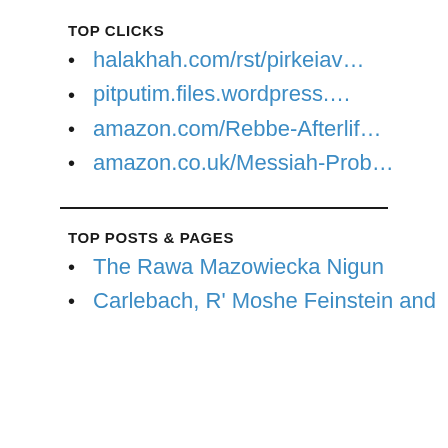TOP CLICKS
halakhah.com/rst/pirkeiav...
pitputim.files.wordpress....
amazon.com/Rebbe-Afterlif...
amazon.co.uk/Messiah-Prob...
TOP POSTS & PAGES
The Rawa Mazowiecka Nigun
Carlebach, R' Moshe Feinstein and Shabe...